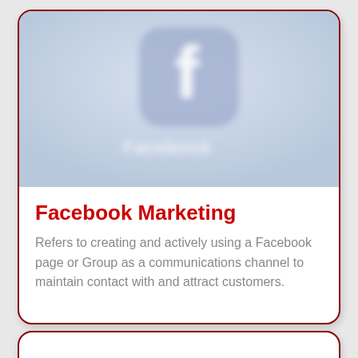[Figure (illustration): Facebook app icon — blurred/soft-focus Facebook 'f' logo on a light blue-grey gradient background, with the word 'Facebook' visible in white text below the icon]
Facebook Marketing
Refers to creating and actively using a Facebook page or Group as a communications channel to maintain contact with and attract customers.